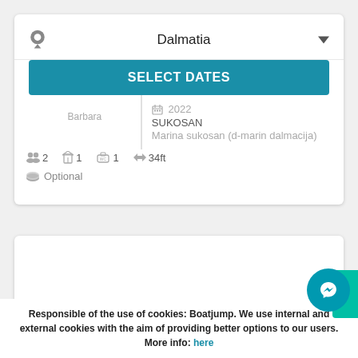[Figure (screenshot): Location selector showing 'Dalmatia' with a pin icon and dropdown arrow]
SELECT DATES
2022
SUKOSAN
Marina sukosan (d-marin dalmacija)
Barbara
2  1  1  34ft
Optional
[Figure (screenshot): Empty white card / image area]
Responsible of the use of cookies: Boatjump. We use internal and external cookies with the aim of providing better options to our users. More info: here